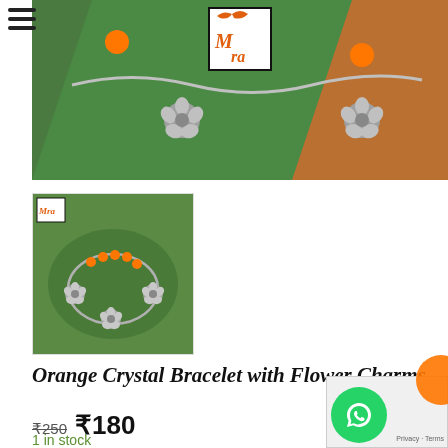[Figure (photo): Main product photo of silver charm bracelet with orange crystal beads and flower charms, displayed on a green leaf/tray with orange background. Store logo overlay in center top.]
[Figure (photo): Thumbnail product photo of orange crystal bracelet with silver flower charms laid flat on a green tray surface. Small store logo in top-left corner.]
Orange Crystal Bracelet with Flower Charms
₹250  ₹180
1 in stock